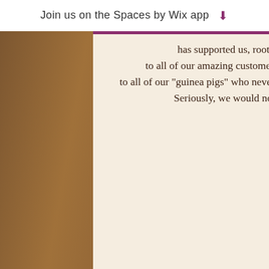Join us on the Spaces by Wix app ↓
has supported us, rooted for us, offered advice and kind words...
to all of our amazing customers who share their lives and their stories with us...
to all of our "guinea pigs" who never tire of trying our crazy new experiments and recipes...
Seriously, we would not be here without you. We are SO grateful.

THANK YOU!